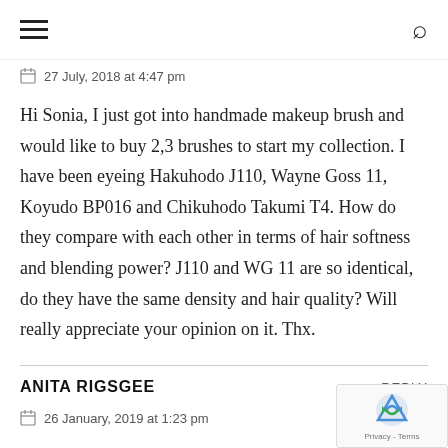≡  🔍
27 July, 2018 at 4:47 pm
Hi Sonia, I just got into handmade makeup brush and would like to buy 2,3 brushes to start my collection. I have been eyeing Hakuhodo J110, Wayne Goss 11, Koyudo BP016 and Chikuhodo Takumi T4. How do they compare with each other in terms of hair softness and blending power? J110 and WG 11 are so identical, do they have the same density and hair quality? Will really appreciate your opinion on it. Thx.
ANITA RIGSGEE
REPLY
26 January, 2019 at 1:23 pm